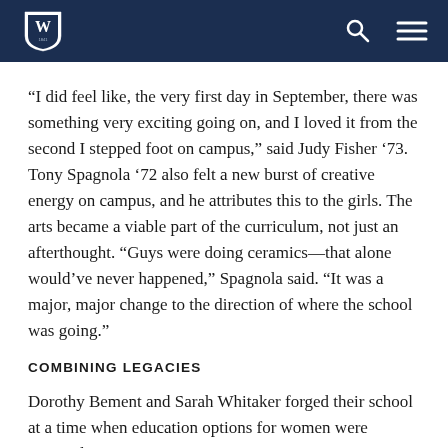W [Wheaton shield logo] | search icon | menu icon
“I did feel like, the very first day in September, there was something very exciting going on, and I loved it from the second I stepped foot on campus,” said Judy Fisher ’73. Tony Spagnola ’72 also felt a new burst of creative energy on campus, and he attributes this to the girls. The arts became a viable part of the curriculum, not just an afterthought. “Guys were doing ceramics—that alone would’ve never happened,” Spagnola said. “It was a major, major change to the direction of where the school was going.”
COMBINING LEGACIES
Dorothy Bement and Sarah Whitaker forged their school at a time when education options for women were minimal.